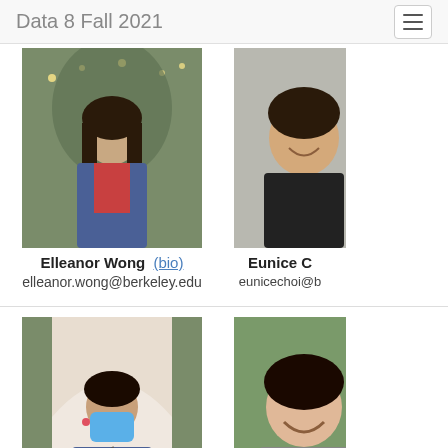Data 8 Fall 2021
[Figure (photo): Photo of Elleanor Wong, a young woman with long dark hair, wearing a denim jacket, standing outdoors with string lights in background]
Elleanor Wong (bio)
elleanor.wong@berkeley.edu
[Figure (photo): Partial photo of Eunice C, a young woman smiling, partially cropped on right side]
Eunice C
eunicechoi@b
[Figure (photo): Photo of Jessica Qian, a young woman wearing a blue face mask and denim jacket, standing in an arched doorway]
Jessica Qian (bio)
jaqian@berkeley.edu
[Figure (photo): Partial photo of Joanna Y, a young woman smiling, partially cropped on right side]
Joanna Y
joannayoo@b